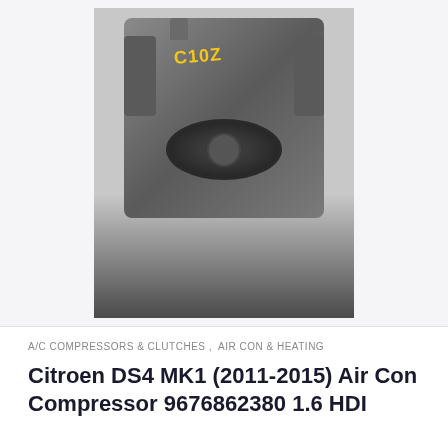[Figure (photo): Photo of a used Citroen DS4 air conditioning compressor, part number 9676862380 1.6 HDI. The metal compressor unit is shown against a grey/dark background. Yellow markings 'C10Z' and '47' are handwritten on the body. The compressor has a black ribbed pulley wheel at the bottom and mounting brackets on the sides.]
A/C COMPRESSORS & CLUTCHES ,  AIR CON & HEATING
Citroen DS4 MK1 (2011-2015) Air Con Compressor 9676862380 1.6 HDI